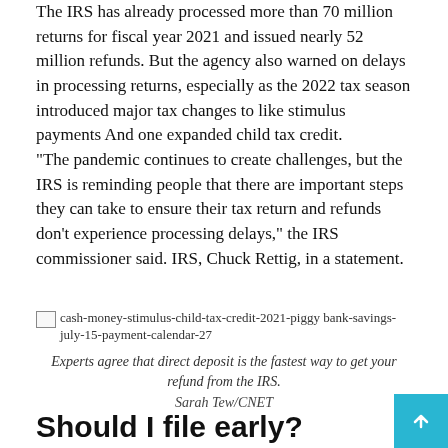The IRS has already processed more than 70 million returns for fiscal year 2021 and issued nearly 52 million refunds. But the agency also warned on delays in processing returns, especially as the 2022 tax season introduced major tax changes to like stimulus payments And one expanded child tax credit.
“The pandemic continues to create challenges, but the IRS is reminding people that there are important steps they can take to ensure their tax return and refunds don’t experience processing delays,” the IRS commissioner said. IRS, Chuck Rettig, in a statement.
[Figure (photo): Broken image placeholder for cash-money-stimulus-child-tax-credit-2021-piggy bank-savings-july-15-payment-calendar-27]
Experts agree that direct deposit is the fastest way to get your refund from the IRS.
Sarah Tew/CNET
Should I file early?